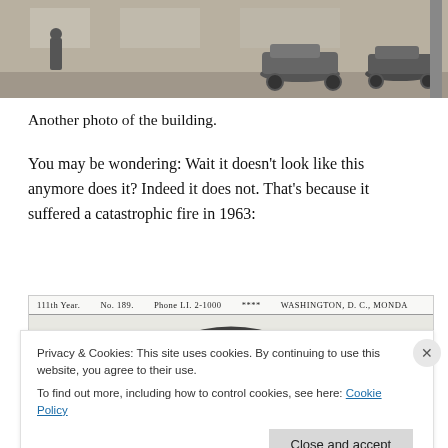[Figure (photo): Black and white historical photo showing old cars parked in front of a building, cropped to show just the lower portion of the scene.]
Another photo of the building.
You may be wondering: Wait it doesn’t look like this anymore does it? Indeed it does not. That’s because it suffered a catastrophic fire in 1963:
[Figure (photo): Partial view of a historical newspaper clipping showing header text '111th Year. No. 189. Phone LI. 2-1000 **** WASHINGTON, D. C., MONDAY' and a black and white photo of what appears to be smoke or fire.]
Privacy & Cookies: This site uses cookies. By continuing to use this website, you agree to their use.
To find out more, including how to control cookies, see here: Cookie Policy